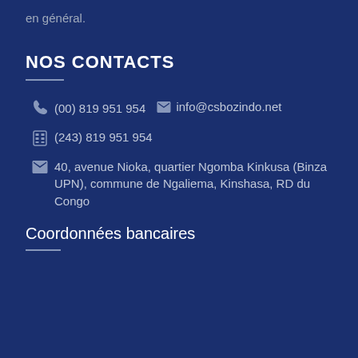en général.
NOS CONTACTS
(00) 819 951 954   info@csbozindo.net
(243) 819 951 954
40, avenue Nioka, quartier Ngomba Kinkusa (Binza UPN), commune de Ngaliema, Kinshasa, RD du Congo
Coordonnées bancaires